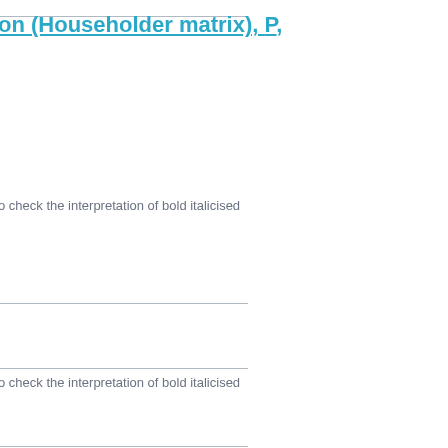on (Householder matrix), P,
o check the interpretation of bold italicised
o check the interpretation of bold italicised
o check the interpretation of bold italicised